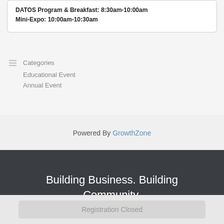DATOS Program & Breakfast: 8:30am-10:00am
Mini-Expo: 10:00am-10:30am
Categories
Educational Event
Annual Event
Powered By GrowthZone
Building Business. Building Community.
Registration Closed